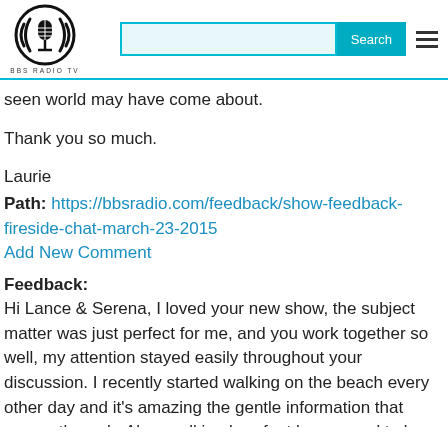BBS RADIO TV — Search bar and navigation
seen world may have come about.
Thank you so much.
Laurie
Path: https://bbsradio.com/feedback/show-feedback-fireside-chat-march-23-2015
Add New Comment
Feedback:
Hi Lance & Serena, I loved your new show, the subject matter was just perfect for me, and you work together so well, my attention stayed easily throughout your discussion. I recently started walking on the beach every other day and it's amazing the gentle information that comes through. Also, walking barefoot has proved to be a natural anti-depressant, sleeping aid, and an easy way to get exercise, and it's all for